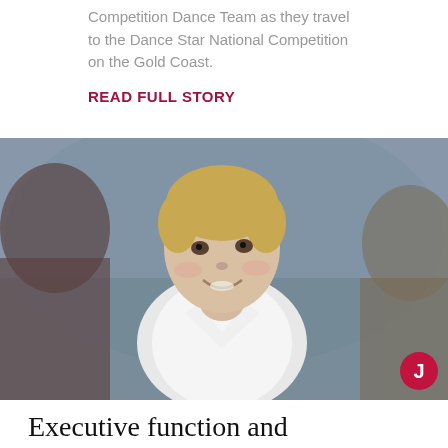Competition Dance Team as they travel to the Dance Star National Competition on the Gold Coast.
READ FULL STORY
[Figure (photo): A young smiling boy in a white shirt, flanked by two other children in white, photographed in a school setting. A circular dark-red badge with the letter J appears in the lower right corner.]
Executive function and